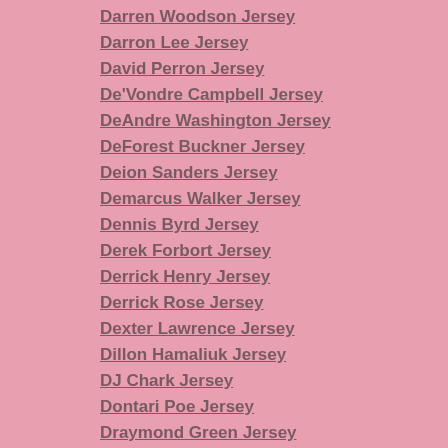Darren Woodson Jersey
Darron Lee Jersey
David Perron Jersey
De'Vondre Campbell Jersey
DeAndre Washington Jersey
DeForest Buckner Jersey
Deion Sanders Jersey
Demarcus Walker Jersey
Dennis Byrd Jersey
Derek Forbort Jersey
Derrick Henry Jersey
Derrick Rose Jersey
Dexter Lawrence Jersey
Dillon Hamaliuk Jersey
DJ Chark Jersey
Dontari Poe Jersey
Draymond Green Jersey
Drew Brees Jersey